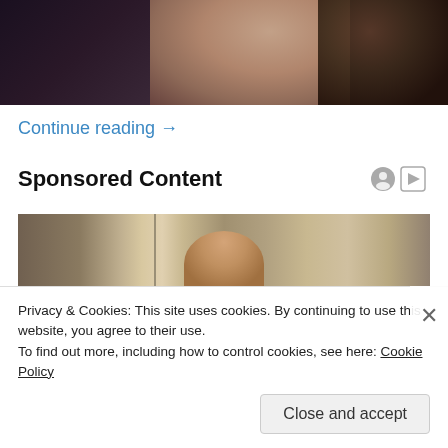[Figure (photo): Partial view of two people close together, cropped at top of page]
Continue reading →
Sponsored Content
[Figure (photo): Sponsored content image showing a child in front of wooden planks/wall]
Privacy & Cookies: This site uses cookies. By continuing to use this website, you agree to their use.
To find out more, including how to control cookies, see here: Cookie Policy